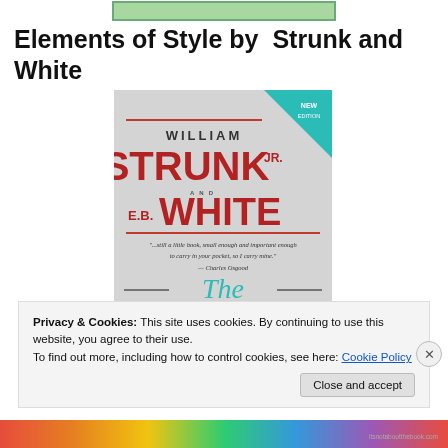[Figure (other): Green bar / header graphic at top of page]
Elements of Style by  Strunk and White
[Figure (photo): Book cover of The Elements of Style by William Strunk Jr. and E.B. White, showing teal NEW EDITION triangle, red lettering, and decorative italic title]
Privacy & Cookies: This site uses cookies. By continuing to use this website, you agree to their use.
To find out more, including how to control cookies, see here: Cookie Policy
Close and accept